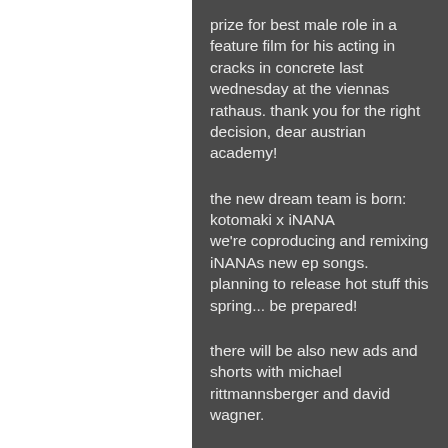prize for best male role in a feature film for his acting in cracks in concrete last wednesday at the viennas rathaus. thank you for the right decision, dear austrian academy!
the new dream team is born: kotomaki x iNANA
we're coproducing and remixing iNANAs new ep songs. planning to release hot stuff this spring... be prepared!
there will be also new ads and shorts with michael rittmannsberger and david wagner.